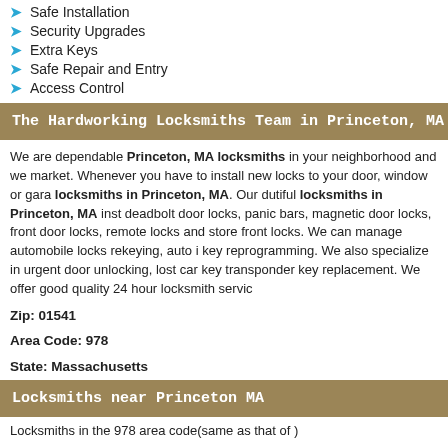Safe Installation
Security Upgrades
Extra Keys
Safe Repair and Entry
Access Control
The Hardworking Locksmiths Team in Princeton, MA (0
We are dependable Princeton, MA locksmiths in your neighborhood and we market. Whenever you have to install new locks to your door, window or gara locksmiths in Princeton, MA. Our dutiful locksmiths in Princeton, MA inst deadbolt door locks, panic bars, magnetic door locks, front door locks, remote locks and store front locks. We can manage automobile locks rekeying, auto i key reprogramming. We also specialize in urgent door unlocking, lost car key transponder key replacement. We offer good quality 24 hour locksmith servic
Zip: 01541
Area Code: 978
State: Massachusetts
Locksmiths near Princeton MA
Locksmiths in the 978 area code(same as that of )
Danvers, MA
Lowell, MA
Salem, MA
Athol, MA
Berlin, MA
Billerica, MA